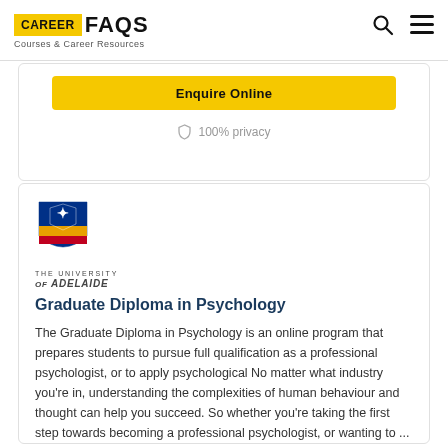CAREER FAQS Courses & Career Resources
[Figure (other): Partial view of an enquire button card with a yellow 'Enquire Online' button and '100% privacy' text with shield icon below it.]
[Figure (logo): The University of Adelaide crest/logo with shield and text 'THE UNIVERSITY of ADELAIDE']
Graduate Diploma in Psychology
The Graduate Diploma in Psychology is an online program that prepares students to pursue full qualification as a professional psychologist, or to apply psychological No matter what industry you're in, understanding the complexities of human behaviour and thought can help you succeed. So whether you're taking the first step towards becoming a professional psychologist, or wanting to ... View course information